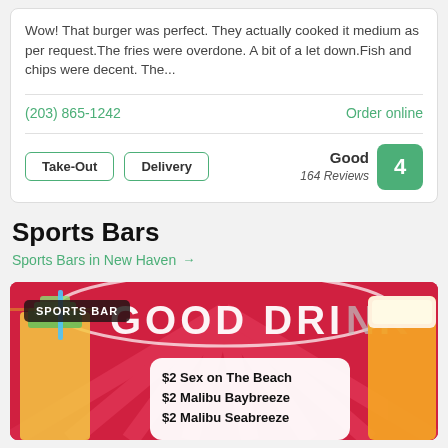Wow! That burger was perfect. They actually cooked it medium as per request.The fries were overdone. A bit of a let down.Fish and chips were decent. The...
(203) 865-1242
Order online
Take-Out
Delivery
Good
164 Reviews
4
Sports Bars
Sports Bars in New Haven →
[Figure (photo): Sports bar promotional image with red/pink background showing 'GOOD DRINKS' text and a white box listing: $2 Sex on The Beach, $2 Malibu Baybreeze, $2 Malibu Seabreeze. A lime cocktail and beer glass are visible on the sides. A 'SPORTS BAR' label badge is in the top left.]